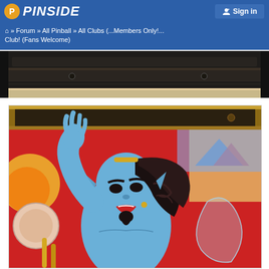PINSIDE — Sign in
⌂ » Forum » All Pinball » All Clubs (...Members Only!... Club! (Fans Welcome)
[Figure (photo): Partial top strip photo of a pinball machine interior, dark metallic top]
[Figure (photo): Close-up photo of a blue genie figurine/toy on a pinball machine playfield with colorful Aladdin-themed artwork in the background]